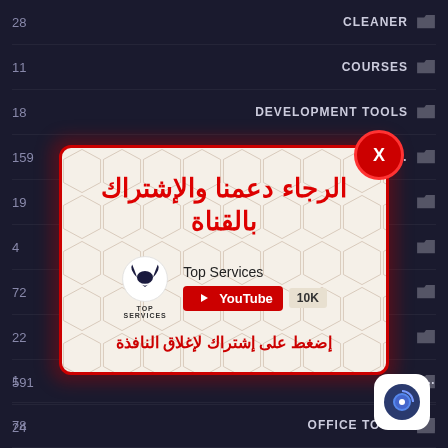28  CLEANER
11  COURSES
18  DEVELOPMENT TOOLS
159  DOWNLOAD MANAG...
19
4
72
22
591
24
1  N...
78  OFFICE TOOLS
[Figure (screenshot): Popup dialog with Arabic text 'الرجاء دعمنا والإشتراك بالقناة' (Please support us and subscribe to the channel), showing Top Services YouTube channel with 10K subscribers, and a red close button X. Bottom text in Arabic: إضغط على إشتراك لإغلاق النافذة (Press subscribe to close the window).]